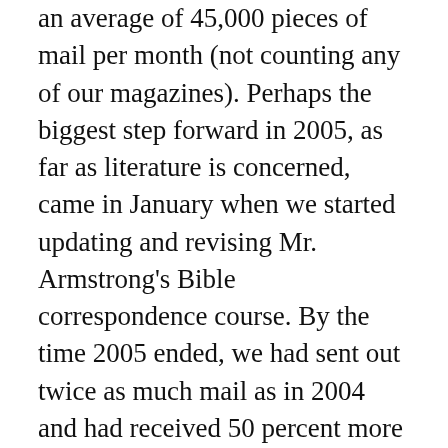an average of 45,000 pieces of mail per month (not counting any of our magazines). Perhaps the biggest step forward in 2005, as far as literature is concerned, came in January when we started updating and revising Mr. Armstrong's Bible correspondence course. By the time 2005 ended, we had sent out twice as much mail as in 2004 and had received 50 percent more phone calls from the TV program than we had the year before.
In January 2006, exactly 20 years after Mr. Armstrong's death, all that was left from the PCG operations at the old Waterwood complex moved into the new Hall of Administration. Herbert W.